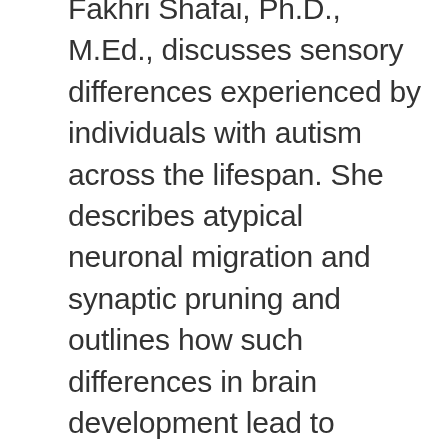Fakhri Shafai, Ph.D., M.Ed., discusses sensory differences experienced by individuals with autism across the lifespan. She describes atypical neuronal migration and synaptic pruning and outlines how such differences in brain development lead to sensory issues in autism. Dr. Shafai uses relatable analogies to discuss complex topics and highlights the lack of adult sensory symptom studies across the field. She defines crucial brain regions, the eight sensory systems, and current limitations to the discourse. Before opening the floor to questions, Shafai touches on future directions for research and resources and provides practical examples of sensory